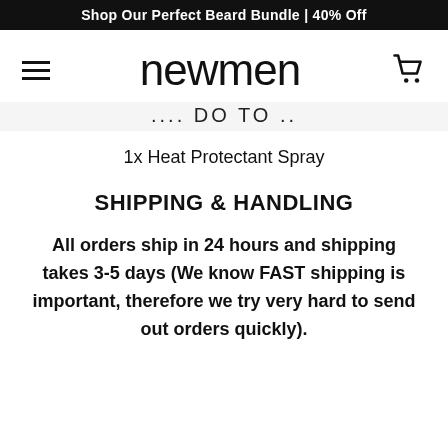Shop Our Perfect Beard Bundle | 40% Off
[Figure (logo): newmen brand logo with hamburger menu icon on left and shopping cart icon on right]
.... DO TO ..
1x Heat Protectant Spray
SHIPPING & HANDLING
All orders ship in 24 hours and shipping takes 3-5 days (We know FAST shipping is important, therefore we try very hard to send out orders quickly).